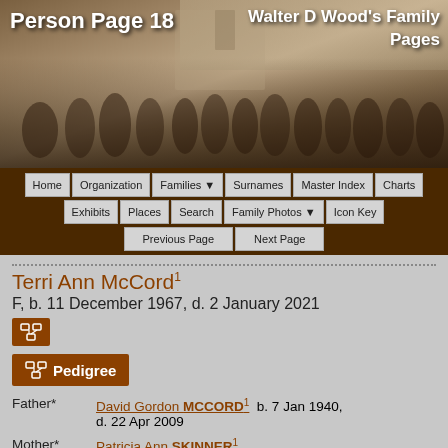[Figure (photo): Sepia-toned vintage group photo of a large family gathering standing outside, with 'Person Page 18' on the left and 'Walter D Wood's Family Pages' on the right overlaid as white text]
Person Page 18 | Walter D Wood's Family Pages
Home | Organization | Families | Surnames | Master Index | Charts | Exhibits | Places | Search | Family Photos | Icon Key | Previous Page | Next Page
Terri Ann McCord1
F, b. 11 December 1967, d. 2 January 2021
Pedigree
| Relation | Person | Details |
| --- | --- | --- |
| Father* | David Gordon MCCORD1 | b. 7 Jan 1940, d. 22 Apr 2009 |
| Mother* | Patricia Ann SKINNER1 |  |